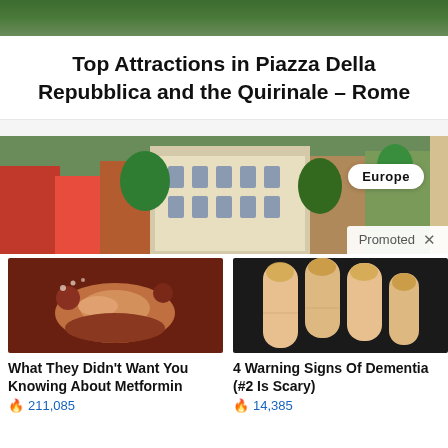[Figure (photo): Partial top image, green/nature scene cropped at top of page]
Top Attractions in Piazza Della Repubblica and the Quirinale – Rome
[Figure (photo): Promotional banner showing Rome cityscape with buildings and trees; 'Europe' badge in top-right; 'Promoted X' bar at bottom-right]
[Figure (photo): Ad thumbnail: close-up of intestinal/worm-like image for Metformin article]
What They Didn't Want You Knowing About Metformin
🔥 211,085
[Figure (photo): Ad thumbnail: close-up of fingers/nails for Dementia warning signs article]
4 Warning Signs Of Dementia (#2 Is Scary)
🔥 14,385